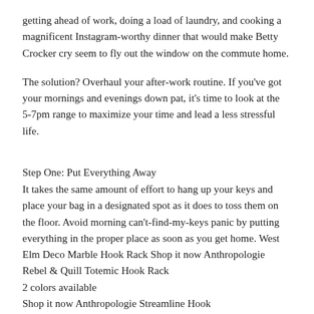getting ahead of work, doing a load of laundry, and cooking a magnificent Instagram-worthy dinner that would make Betty Crocker cry seem to fly out the window on the commute home.
The solution? Overhaul your after-work routine. If you've got your mornings and evenings down pat, it's time to look at the 5-7pm range to maximize your time and lead a less stressful life.
Step One: Put Everything Away
It takes the same amount of effort to hang up your keys and place your bag in a designated spot as it does to toss them on the floor. Avoid morning can't-find-my-keys panic by putting everything in the proper place as soon as you get home. West Elm Deco Marble Hook Rack Shop it now Anthropologie Rebel & Quill Totemic Hook Rack
2 colors available
Shop it now Anthropologie Streamline Hook
3 colors available